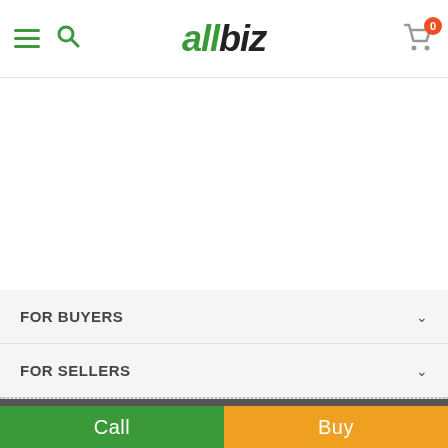allbiz — navigation header with hamburger menu, search icon, logo, and cart with badge 0
FOR BUYERS
FOR SELLERS
USEFUL INFORMATION
ABOUT ENTERPRISE
Call | Buy